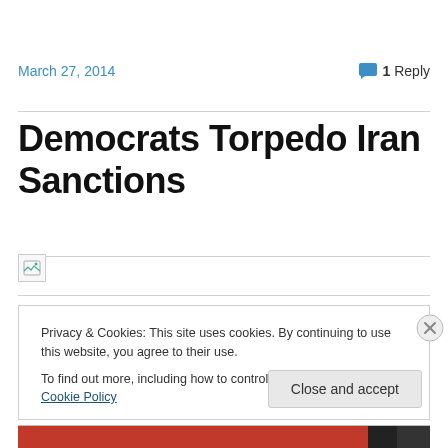March 27, 2014   1 Reply
Democrats Torpedo Iran Sanctions
[Figure (other): Broken image placeholder icon]
Privacy & Cookies: This site uses cookies. By continuing to use this website, you agree to their use.
To find out more, including how to control cookies, see here: Cookie Policy
Close and accept